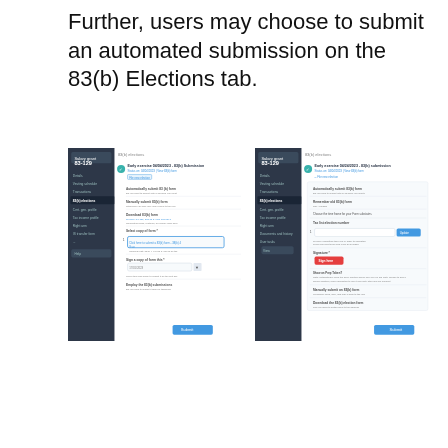Further, users may choose to submit an automated submission on the 83(b) Elections tab.
[Figure (screenshot): Two side-by-side screenshots of a web application showing the 83(b) Elections tab interface. The left screenshot shows a form with multiple fields and a Submit button. The right screenshot shows a similar form with a red 'Sign here' button highlighted and a Submit button at the bottom. Both screenshots have a dark sidebar navigation on the left with menu items including '83(b) elections', and a main content area with form fields for automated submission.]